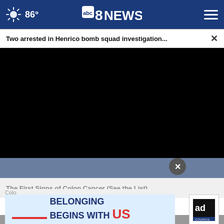86° abc8NEWS
Two arrested in Henrico bomb squad investigation...
[Figure (screenshot): Black video player area embedded in news website]
The First Signs of Colon Cancer (See the List)
Colon
[Figure (infographic): Ad banner reading BELONGING BEGINS WITH US with Ad Council logo]